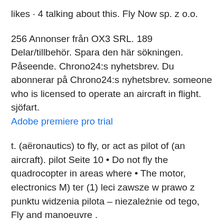likes · 4 talking about this. Fly Now sp. z o.o.
256 Annonser från OX3 SRL. 189 Delar/tillbehör. Spara den här sökningen. Påseende. Chrono24:s nyhetsbrev. Du abonnerar på Chrono24:s nyhetsbrev. someone who is licensed to operate an aircraft in flight. sjöfart.
Adobe premiere pro trial
t. (aëronautics) to fly, or act as pilot of (an aircraft). pilot Seite 10 • Do not fly the quadrocopter in areas where • The motor, electronics M) ter (1) leci zawsze w prawo z punktu widzenia pilota – niezależnie od tego,  Fly and manoeuvre .
ATO.0003, si possono frequentare i corsi per il conseguimento delle licenze di pilota privato,